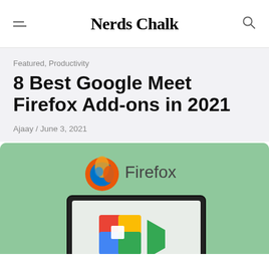Nerds Chalk
Featured, Productivity
8 Best Google Meet Firefox Add-ons in 2021
Ajaay / June 3, 2021
[Figure (illustration): Hero image with green background showing Firefox logo and text at top, and a laptop displaying the Google Meet video camera icon logo (colorful red, blue, yellow, green squares with green camera arrow) on a light gray screen below.]